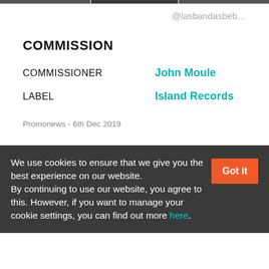@lasbandasbeb…
COMMISSION
COMMISSIONER	John Moule
LABEL	Island Records
Promonews - 6th Dec 2019
We use cookies to ensure that we give you the best experience on our website. By continuing to use our website, you agree to this. However, if you want to manage your cookie settings, you can find out more here.